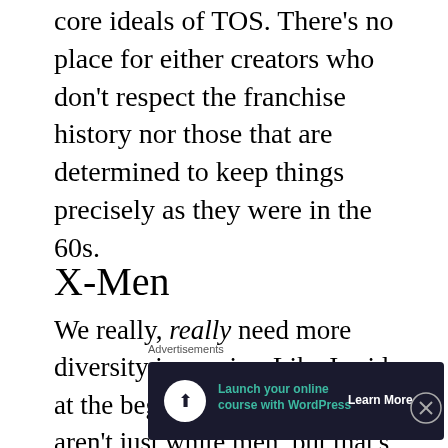core ideals of TOS. There's no place for either creators who don't respect the franchise history nor those that are determined to keep things precisely as they were in the 60s.
X-Men
We really, really need more diversity in comics. Like I said at the beginning, comics fans aren't just white men, but that's who comics are perceived to be for, because that's who most of the writers are and to whom they're talking. One of the consequences of
Advertisements
[Figure (other): Advertisement banner: Launch your online course with WordPress. Dark background with teal text and Learn More button.]